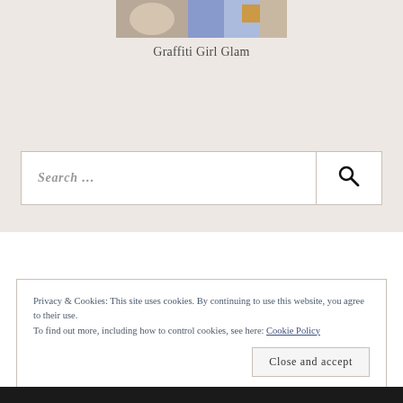[Figure (photo): Partial view of a blog header image with colorful/patterned clothing or fabric]
Graffiti Girl Glam
Search ...
Privacy & Cookies: This site uses cookies. By continuing to use this website, you agree to their use.
To find out more, including how to control cookies, see here: Cookie Policy
Close and accept